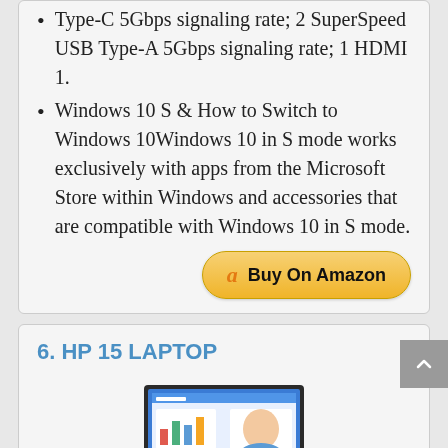Type-C 5Gbps signaling rate; 2 SuperSpeed USB Type-A 5Gbps signaling rate; 1 HDMI 1.
Windows 10 S & How to Switch to Windows 10⁠Windows 10 in S mode works exclusively with apps from the Microsoft Store within Windows and accessories that are compatible with Windows 10 in S mode.
[Figure (other): Buy On Amazon button with Amazon logo]
6. HP 15 LAPTOP
[Figure (photo): HP 15 laptop product image showing screen with Windows interface and Intel Core badge]